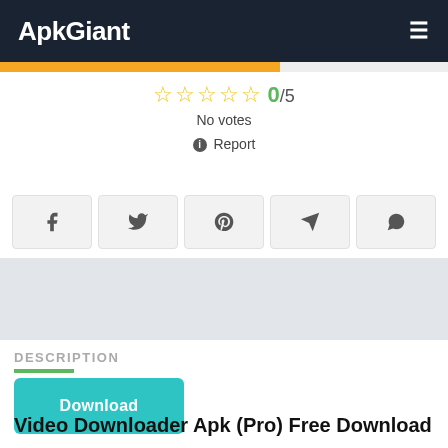ApkGiant ☰
[Figure (other): Orange progress bar strip at top of content area]
☆☆☆☆☆ 0/5
No votes
🛈 Report
[Figure (other): Social share buttons row: Facebook, Twitter, Pinterest, Telegram, WhatsApp]
[Figure (other): Gray advertisement band]
DESCRIPTION
Download
Video Downloader Apk (Pro) Free Download